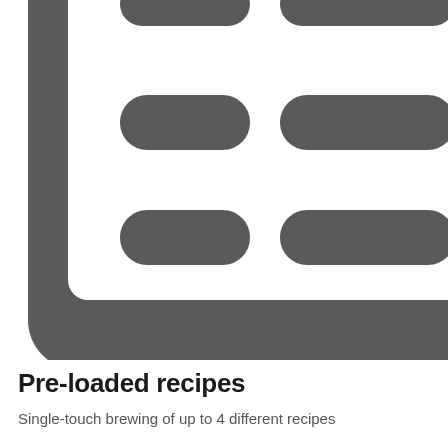[Figure (illustration): Large icon of a recipe/list document with rounded-rectangle pill-shaped entries arranged in rows on a card with rounded corners. The icon is cropped at top and right edges. Dark gray on white background.]
Pre-loaded recipes
Single-touch brewing of up to 4 different recipes